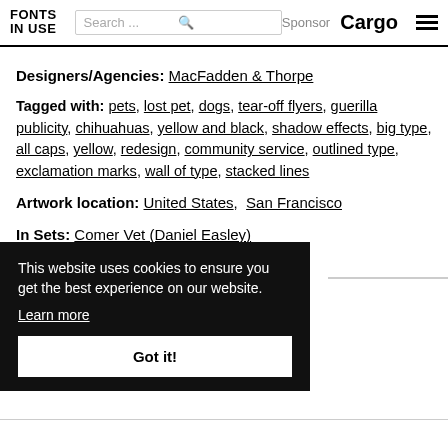FONTS IN USE | Search ... | Sponsor Cargo
Designers/Agencies: MacFadden & Thorpe
Tagged with: pets, lost pet, dogs, tear-off flyers, guerilla publicity, chihuahuas, yellow and black, shadow effects, big type, all caps, yellow, redesign, community service, outlined type, exclamation marks, wall of type, stacked lines
Artwork location: United States, San Francisco
In Sets: Comer Vet (Daniel Easley)
This website uses cookies to ensure you get the best experience on our website. Learn more
Got it!